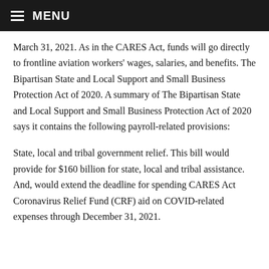MENU
March 31, 2021. As in the CARES Act, funds will go directly to frontline aviation workers' wages, salaries, and benefits. The Bipartisan State and Local Support and Small Business Protection Act of 2020. A summary of The Bipartisan State and Local Support and Small Business Protection Act of 2020 says it contains the following payroll-related provisions:
State, local and tribal government relief. This bill would provide for $160 billion for state, local and tribal assistance. And, would extend the deadline for spending CARES Act Coronavirus Relief Fund (CRF) aid on COVID-related expenses through December 31, 2021.